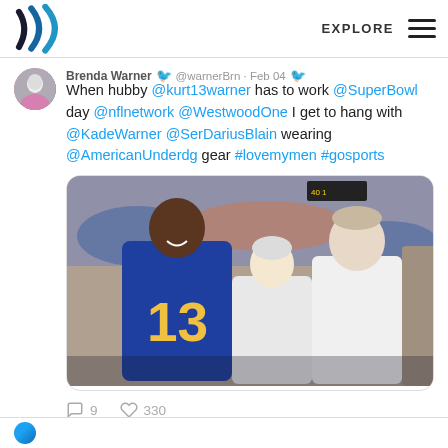Westwood One logo | EXPLORE menu
Brenda Warner @warnerBrn · Feb 04
When hubby @kurt13warner has to work @SuperBowl day @nflnetwork @WestwoodOne I get to hang with @KadeWarner @SerDariusBlain wearing @AmericanUnderdg gear #lovemymen #gosports
[Figure (photo): Three people posing for a selfie at a football stadium. A tall Black man wearing a blue and gold LA Rams #13 jersey stands on the left. A blonde woman stands in the middle. A young white man in a white shirt stands on the right. The stadium crowd is visible in the background.]
9 comments  330 likes